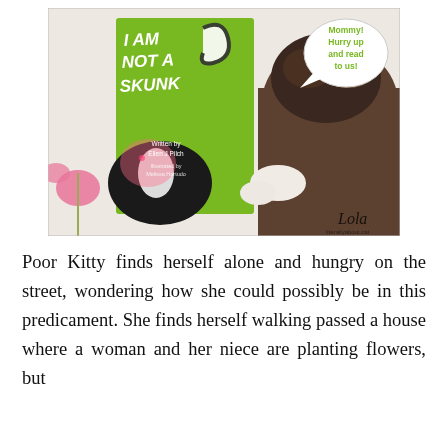[Figure (photo): A photo of a cat resting its head near a copy of the children's book 'I Am Not a Skunk' written by Ellen J Pilch. The book has a green cover with a cartoon skunk. A speech bubble reads 'Mommy! Hurry up and read to us!' A 'Lola' watermark appears in the bottom right corner. The scene is on floral fabric.]
Poor Kitty finds herself alone and hungry on the street, wondering how she could possibly be in this predicament. She finds herself walking passed a house where a woman and her niece are planting flowers, but